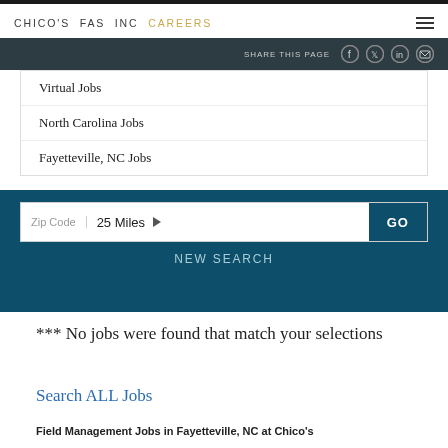CHICO'S FAS INC CAREERS
SHARE THIS PAGE
Virtual Jobs
North Carolina Jobs
Fayetteville, NC Jobs
Zip Code  25 Miles  GO
NEW SEARCH
*** No jobs were found that match your selections
Search ALL Jobs
Field Management Jobs in Fayetteville, NC at Chico's